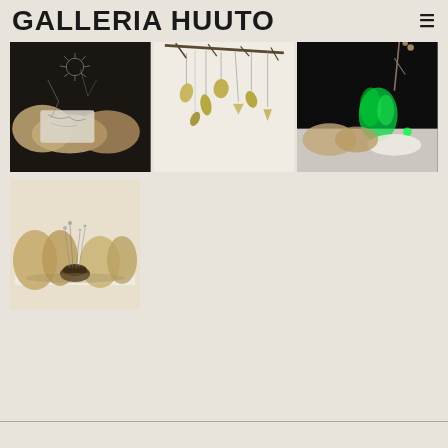GALLERIA HUUTO
[Figure (photo): Art installation with textured rock-like organic forms and white fabric or paper with delicate branching wire elements, dark background]
[Figure (photo): Hanging installation with dried leaf or petal shapes suspended from branches against white background]
[Figure (photo): Art installation with green plant-like element and white fabric on dark background]
[Figure (photo): Gallery installation with large tan/brown organic rock-like sculptural forms and delicate wire structures on white plinth]